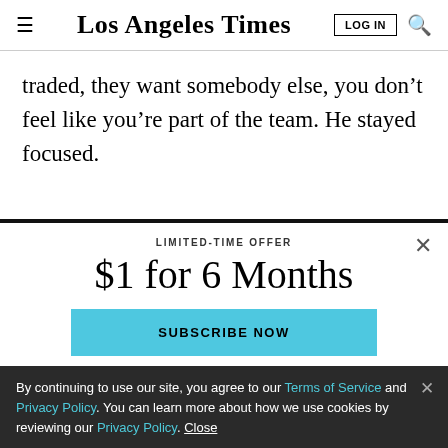Los Angeles Times | LOG IN | [search]
traded, they want somebody else, you don’t feel like you’re part of the team. He stayed focused.
LIMITED-TIME OFFER
$1 for 6 Months
SUBSCRIBE NOW
By continuing to use our site, you agree to our Terms of Service and Privacy Policy. You can learn more about how we use cookies by reviewing our Privacy Policy. Close